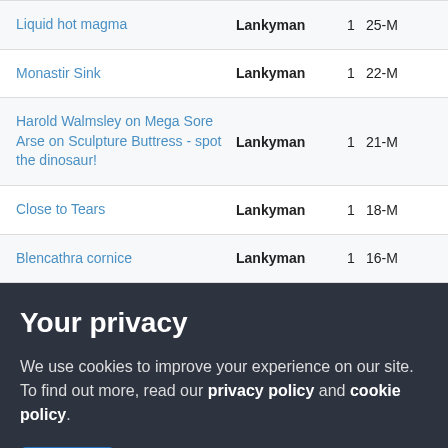| Title | Author | Count | Date |
| --- | --- | --- | --- |
| Liquid hot magma | Lankyman | 1 | 25-M |
| Monastir Sink | Lankyman | 1 | 22-M |
| Harold Walmsley on Mega Sore Arse on Sculpture Buttress - spot the dinosaur! | Lankyman | 1 | 21-M |
| Close to Tears | Lankyman | 1 | 18-M |
| Blencathra cornice | Lankyman | 1 | 16-M |
Your privacy
We use cookies to improve your experience on our site. To find out more, read our privacy policy and cookie policy.
OK
More information